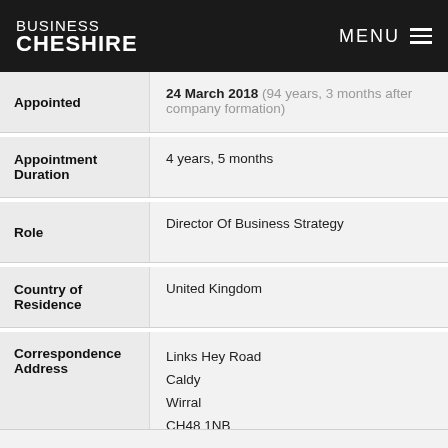BUSINESS CHESHIRE | MENU
| Field | Value |
| --- | --- |
| Appointed | 24 March 2018 (94 years, 3 months after company formation) |
| Appointment Duration | 4 years, 5 months |
| Role | Director Of Business Strategy |
| Country of Residence | United Kingdom |
| Correspondence Address | Links Hey Road
Caldy
Wirral
CH48 1NB
Wales |